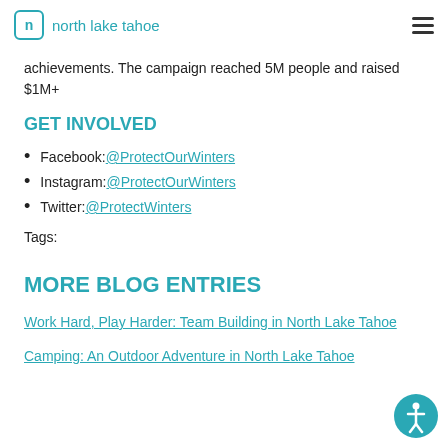north lake tahoe
achievements. The campaign reached 5M people and raised $1M+
GET INVOLVED
Facebook: @ProtectOurWinters
Instagram: @ProtectOurWinters
Twitter: @ProtectWinters
Tags:
MORE BLOG ENTRIES
Work Hard, Play Harder: Team Building in North Lake Tahoe
Camping: An Outdoor Adventure in North Lake Tahoe